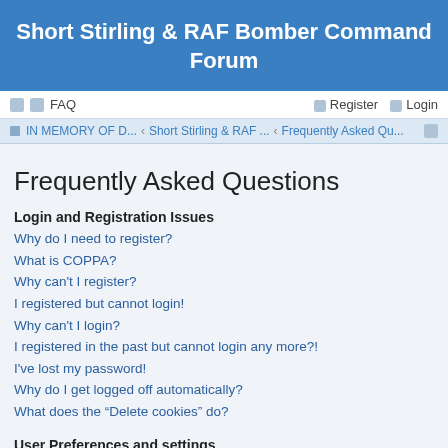Short Stirling & RAF Bomber Command Forum
FAQ  Register  Login
IN MEMORY OF D... · Short Stirling & RAF ... · Frequently Asked Qu...
Frequently Asked Questions
Login and Registration Issues
Why do I need to register?
What is COPPA?
Why can't I register?
I registered but cannot login!
Why can't I login?
I registered in the past but cannot login any more?!
I've lost my password!
Why do I get logged off automatically?
What does the “Delete cookies” do?
User Preferences and settings
How do I change my settings?
How do I prevent my username appearing in the online user listings?
The times are not correct!
I changed the timezone and the time is still wrong!
My language is not in the list!